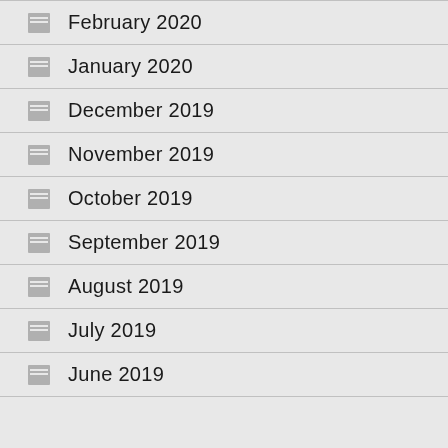February 2020
January 2020
December 2019
November 2019
October 2019
September 2019
August 2019
July 2019
June 2019